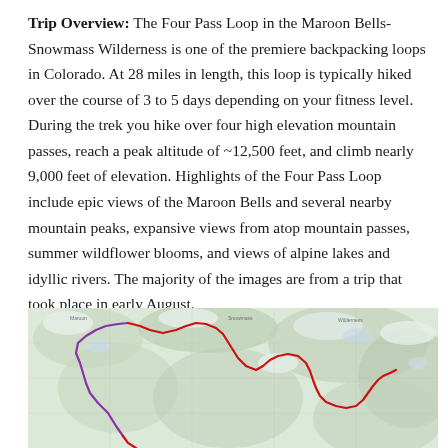Trip Overview: The Four Pass Loop in the Maroon Bells-Snowmass Wilderness is one of the premiere backpacking loops in Colorado. At 28 miles in length, this loop is typically hiked over the course of 3 to 5 days depending on your fitness level. During the trek you hike over four high elevation mountain passes, reach a peak altitude of ~12,500 feet, and climb nearly 9,000 feet of elevation. Highlights of the Four Pass Loop include epic views of the Maroon Bells and several nearby mountain peaks, expansive views from atop mountain passes, summer wildflower blooms, and views of alpine lakes and idyllic rivers. The majority of the images are from a trip that took place in early August.
[Figure (map): Topographic trail map of the Four Pass Loop in the Maroon Bells-Snowmass Wilderness area, showing the hiking route traced in red and purple lines over a green and grey terrain map.]